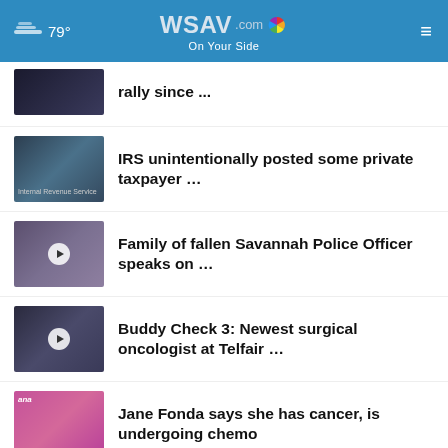79° WSAV.com On Your Side
rally since ...
IRS unintentionally posted some private taxpayer …
Family of fallen Savannah Police Officer speaks on …
Buddy Check 3: Newest surgical oncologist at Telfair …
Jane Fonda says she has cancer, is undergoing chemo
More Stories ›